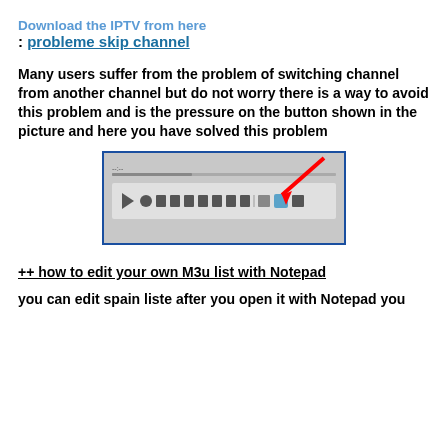Download the IPTV from here
: probleme skip channel
Many users suffer from the problem of switching channel from another channel but do not worry there is a way to avoid this problem and is the pressure on the button shown in the picture and here you have solved this problem
[Figure (screenshot): Screenshot of a media player toolbar with playback controls, with a red arrow pointing to a button near the right side of the controls]
++ how to edit your own M3u list with Notepad
you can edit spain liste after you open it with Notepad you